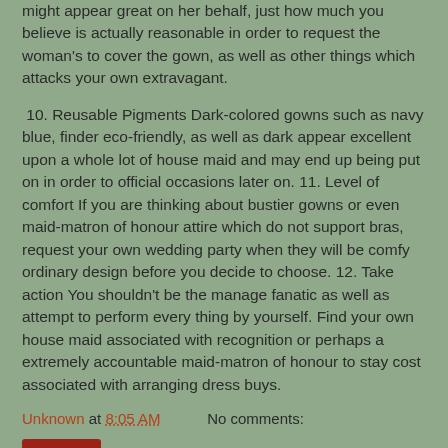might appear great on her behalf, just how much you believe is actually reasonable in order to request the woman's to cover the gown, as well as other things which attacks your own extravagant.
10. Reusable Pigments Dark-colored gowns such as navy blue, finder eco-friendly, as well as dark appear excellent upon a whole lot of house maid and may end up being put on in order to official occasions later on. 11. Level of comfort If you are thinking about bustier gowns or even maid-matron of honour attire which do not support bras, request your own wedding party when they will be comfy ordinary design before you decide to choose. 12. Take action You shouldn't be the manage fanatic as well as attempt to perform every thing by yourself. Find your own house maid associated with recognition or perhaps a extremely accountable maid-matron of honour to stay cost associated with arranging dress buys.
Unknown at 8:05 AM    No comments:
Share